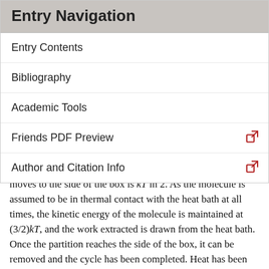Entry Navigation
Entry Contents
Bibliography
Academic Tools
Friends PDF Preview
Author and Citation Info
show that the maximum work extracted as the partition moves to the side of the box is kT ln 2. As the molecule is assumed to be in thermal contact with the heat bath at all times, the kinetic energy of the molecule is maintained at (3/2)kT, and the work extracted is drawn from the heat bath. Once the partition reaches the side of the box, it can be removed and the cycle has been completed. Heat has been extracted from the heat bath and converted into work, with apparent certainty. The process may be repeated indefinitely to continue the certain extraction of work. If this succeeds, Smoluchowski's modified second law amounts to at best a...